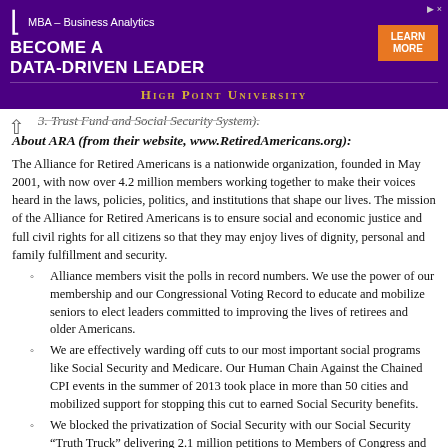[Figure (other): Advertisement banner for High Point University MBA – Business Analytics program with purple background, orange 'Learn More' button, and gold university name.]
3. Trust Fund and Social Security System).
About ARA (from their website, www.RetiredAmericans.org):
The Alliance for Retired Americans is a nationwide organization, founded in May 2001, with now over 4.2 million members working together to make their voices heard in the laws, policies, politics, and institutions that shape our lives. The mission of the Alliance for Retired Americans is to ensure social and economic justice and full civil rights for all citizens so that they may enjoy lives of dignity, personal and family fulfillment and security.
Alliance members visit the polls in record numbers. We use the power of our membership and our Congressional Voting Record to educate and mobilize seniors to elect leaders committed to improving the lives of retirees and older Americans.
We are effectively warding off cuts to our most important social programs like Social Security and Medicare. Our Human Chain Against the Chained CPI events in the summer of 2013 took place in more than 50 cities and mobilized support for stopping this cut to earned Social Security benefits.
We blocked the privatization of Social Security with our Social Security "Truth Truck" delivering 2.1 million petitions to Members of Congress and other tactics.
The Alliance makes its voice heard on the issues that matter not just to current retirees, but to all Americans who hope to retire one day. We were a leading voice in recent debates considering changes to Medicare, like replacing guaranteed benefits with a voucher system — beginning in 2014...